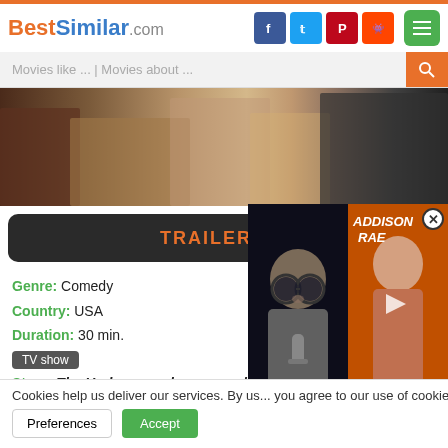BestSimilar.com
Movies like ... | Movies about ...
[Figure (photo): Movie scene showing people in formal attire, cropped view of torsos and hands]
TRAILER
Genre: Comedy
Country: USA
Duration: 30 min.
TV show
+ Watchlist
Story: The Underground was a s... by and starring Damon Wayans.
[Figure (screenshot): Popup showing two images: a bald person with large glasses on dark background, and a woman with text ADDISON RAE and OBSESSED]
Cookies help us deliver our services. By us... you agree to our use of cookies as describe...
Preferences  Accept